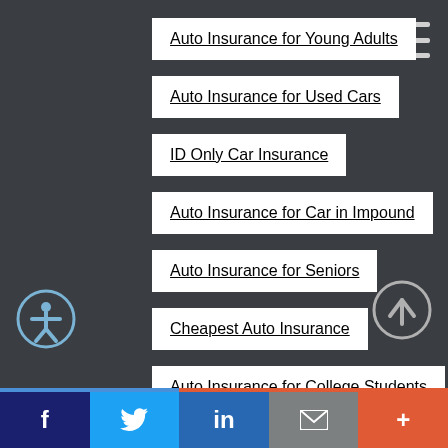Auto Insurance for Young Adults
Auto Insurance for Used Cars
ID Only Car Insurance
Auto Insurance for Car in Impound
Auto Insurance for Seniors
Cheapest Auto Insurance
Auto Insurance for College Students
Frequently Asked Questions
f  Twitter  in  Email  +